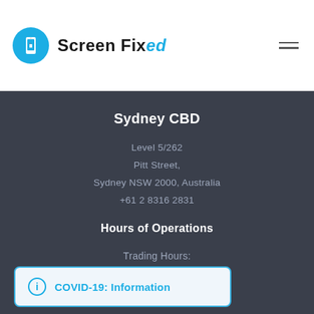[Figure (logo): Screen Fixed logo with blue circle icon containing a smartphone graphic and text 'Screen Fixed' where 'ed' is italic and blue]
Sydney CBD
Level 5/262
Pitt Street,
Sydney NSW 2000, Australia
+61 2 8316 2831
Hours of Operations
Trading Hours:
Monday 9:00am – 4:30pm
Closed
am – 4:30pm
Closed
Friday 9:00am – 4:30
[Figure (infographic): COVID-19: Information banner with info icon, light blue background, teal border]